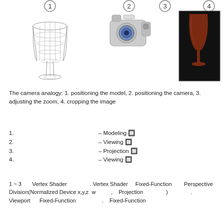[Figure (illustration): Four numbered illustrations showing the camera analogy steps: (1) wireframe wine glass model, (2) camera icon for positioning the camera, (3) camera with zoom lens, (4) rendered dark image of a red wine glass on black background.]
The camera analogy: 1. positioning the model, 2. positioning the camera, 3. adjusting the zoom, 4. cropping the image
1.   – Modeling 🔲
2.   – Viewing 🔲
3.   – Projection 🔲
4.   – Viewing 🔲
1 ~ 3      Vertex Shader                  . Vertex Shader     Fixed-Function       Perspective Division(Normalized Device x,y,z   w           ,    Projection                  )                 . Viewport       Fixed-Function                   .    Fixed-Function